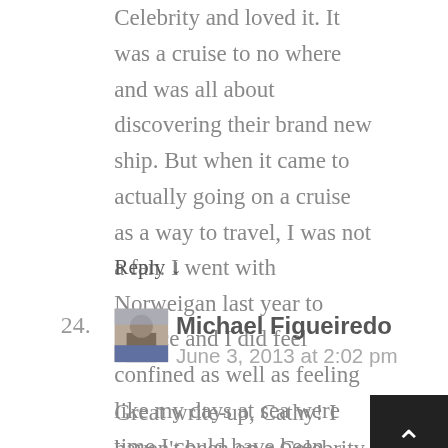Celebrity and loved it. It was a cruise to no where and was all about discovering their brand new ship. But when it came to actually going on a cruise as a way to travel, I was not a fan. I went with Norweigan last year to Greece and I did feel confined as well as feeling like my days at sea were time I could have been exploring Greece. In the end, I don't think a cruise is for me.
Reply ↓
24.
[Figure (photo): Small square avatar photo of Michael Figueiredo showing a person in front of a building]
Michael Figueiredo
June 3, 2013 at 2:02 pm
Great write-up, Cathy! I haven't been on a Celebrity Cruise yet but want to someday. The Solstice looks really